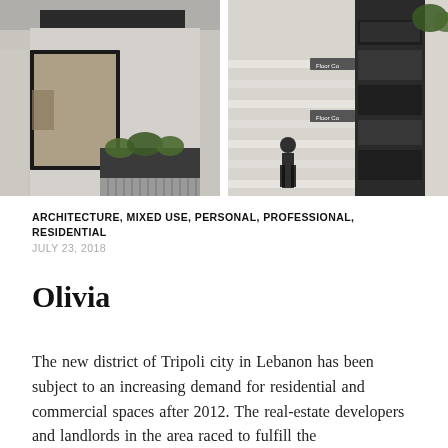[Figure (photo): Two architectural renderings side by side: left shows a modern residential building facade with marble-clad exterior, large windows, and green planters; right shows an interior staircase with dark perforated metal screens and floor level signage.]
ARCHITECTURE, MIXED USE, PERSONAL, PROFESSIONAL, RESIDENTIAL
JULY 23, 2018
Olivia
The new district of Tripoli city in Lebanon has been subject to an increasing demand for residential and commercial spaces after 2012. The real-estate developers and landlords in the area raced to fulfill the